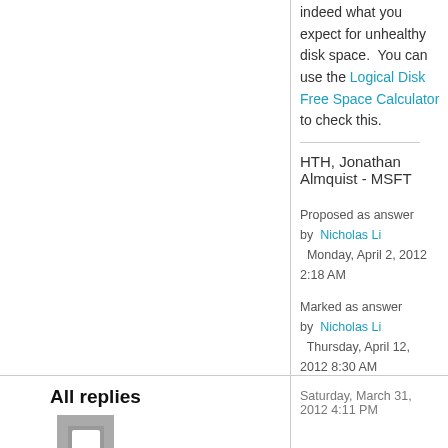indeed what you expect for unhealthy disk space.  You can use the Logical Disk Free Space Calculator to check this.
HTH, Jonathan Almquist - MSFT
Proposed as answer by  Nicholas Li  Monday, April 2, 2012 2:18 AM
Marked as answer by  Nicholas Li  Thursday, April 12, 2012 8:30 AM
Saturday, March 31, 2012 4:11 PM
All replies
[Figure (illustration): User avatar icon - grey square with speech bubble/person icon]